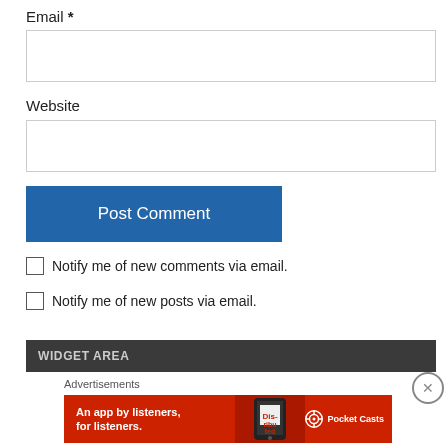Email *
Website
Post Comment
Notify me of new comments via email.
Notify me of new posts via email.
WIDGET AREA
Advertisements
[Figure (other): Pocket Casts advertisement banner: red background with phone image, text 'An app by listeners, for listeners.' and Pocket Casts logo]